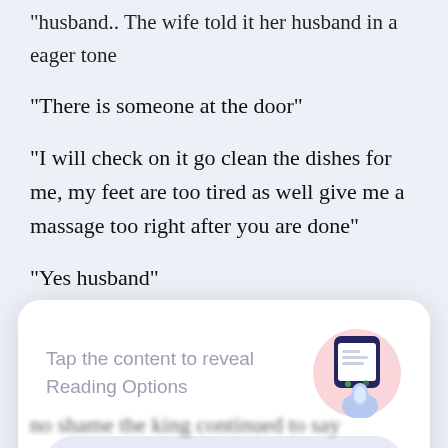...husband.. The wife told it her husband in a eager tone
"There is someone at the door"
"I will check on it go clean the dishes for me, my feet are too tired as well give me a massage too right after you are done"
"Yes husband"
A man with hair that fell to his mid waist was
[Figure (screenshot): A modal popup with text 'Tap the content to reveal Reading Options' and a 'GOT IT' button, with an illustration of a hand tapping a phone screen.]
no shame  the king continued to say